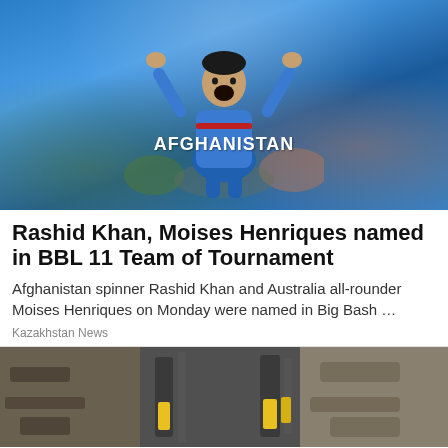[Figure (photo): Afghan cricket player in blue Afghanistan jersey with arms raised celebrating, crowd in background]
Rashid Khan, Moises Henriques named in BBL 11 Team of Tournament
Afghanistan spinner Rashid Khan and Australia all-rounder Moises Henriques on Monday were named in Big Bash …
Kazakhstan News
[Figure (photo): Construction or infrastructure scene with pipes and yellow equipment against stone/concrete wall]